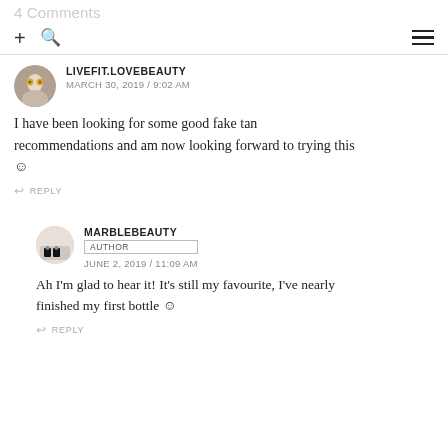4 Comments
LIVEFIT.LOVEBEAUTY
MARCH 30, 2019 / 9:02 AM
I have been looking for some good fake tan recommendations and am now looking forward to trying this ☺
↩ REPLY
MARBLEBEAUTY
AUTHOR
JUNE 2, 2019 / 11:09 AM
Ah I'm glad to hear it! It's still my favourite, I've nearly finished my first bottle ☺
↩ REPLY